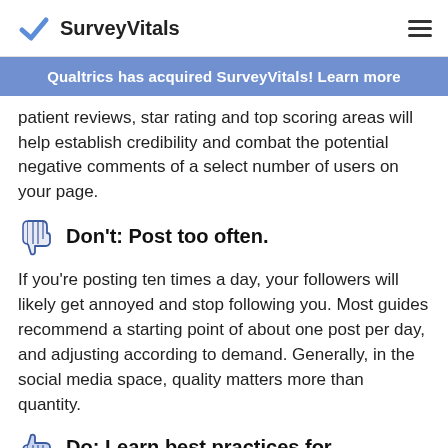SurveyVitals
Qualtrics has acquired SurveyVitals! Learn more
patient reviews, star rating and top scoring areas will help establish credibility and combat the potential negative comments of a select number of users on your page.
Don't: Post too often.
If you're posting ten times a day, your followers will likely get annoyed and stop following you. Most guides recommend a starting point of about one post per day, and adjusting according to demand. Generally, in the social media space, quality matters more than quantity.
Do: Learn best practices for